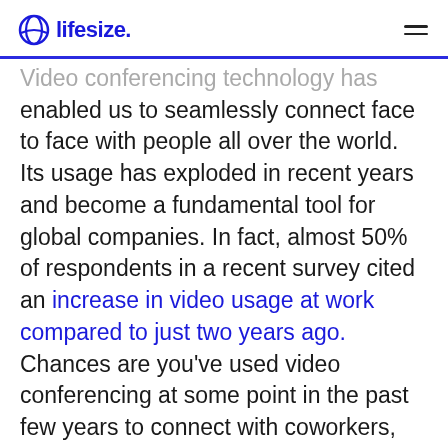lifesize
Video conferencing technology has enabled us to seamlessly connect face to face with people all over the world. Its usage has exploded in recent years and become a fundamental tool for global companies. In fact, almost 50% of respondents in a recent survey cited an increase in video usage at work compared to just two years ago. Chances are you’ve used video conferencing at some point in the past few years to connect with coworkers, clients or potential customers, but you still may not fully understand the different types of video conferencing